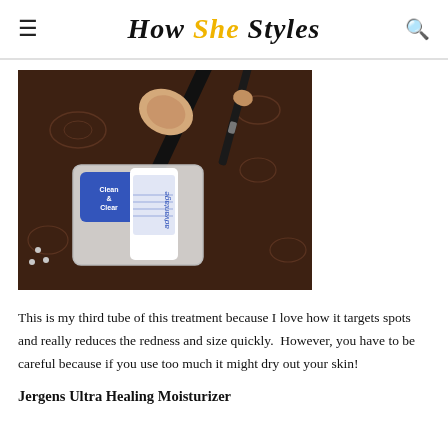How She Styles
[Figure (photo): Photo of a Clean & Clear Advantage acne treatment product in its packaging, alongside a makeup brush, on a dark brown floral fabric background.]
This is my third tube of this treatment because I love how it targets spots and really reduces the redness and size quickly.  However, you have to be careful because if you use too much it might dry out your skin!
Jergens Ultra Healing Moisturizer